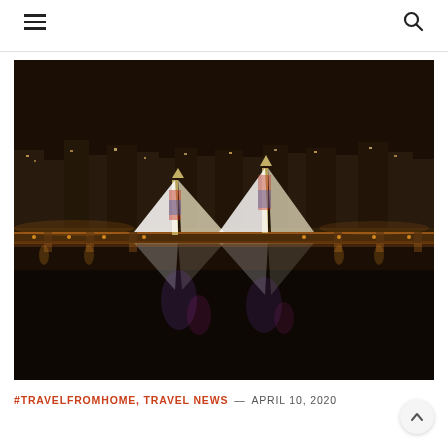[Figure (photo): Aerial night view of an illuminated cable-stayed bridge spanning a wide river, with glowing triangular pylon structures lit in white and warm tones, colorful reflections on the water, and a city skyline with lights in the background.]
#TRAVELFROMHOME, TRAVEL NEWS — APRIL 10, 2020